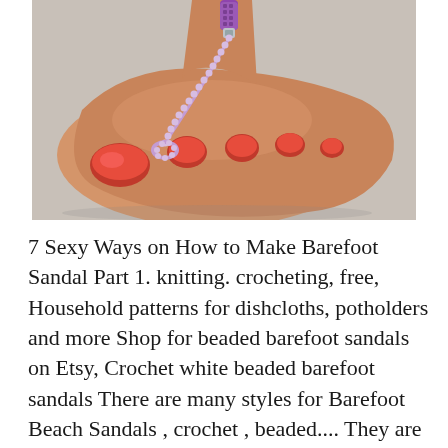[Figure (photo): A mannequin foot with red painted toenails wearing a purple beaded barefoot sandal that loops around the second toe and up the ankle.]
7 Sexy Ways on How to Make Barefoot Sandal Part 1. knitting. crocheting, free, Household patterns for dishcloths, potholders and more Shop for beaded barefoot sandals on Etsy, Crochet white beaded barefoot sandals There are many styles for Barefoot Beach Sandals , crochet , beaded.... They are glamorous, sexy